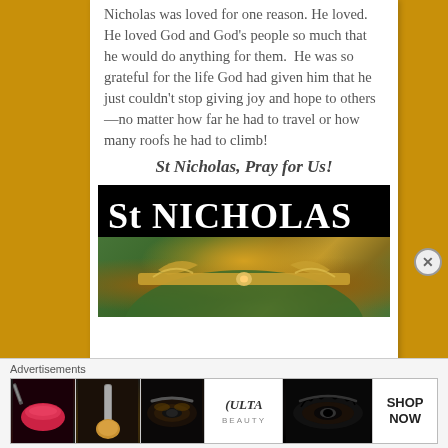Nicholas was loved for one reason. He loved. He loved God and God's people so much that he would do anything for them. He was so grateful for the life God had given him that he just couldn't stop giving joy and hope to others—no matter how far he had to travel or how many roofs he had to climb!
St Nicholas, Pray for Us!
[Figure (photo): Black banner with white serif text reading 'St NICHOLAS' and below it an ornate image of a bishop's mitre or crown in gold and green colors with decorative elements.]
Advertisements
[Figure (screenshot): Advertisements strip showing beauty/makeup ads including lips with red lipstick, makeup brush, eye with eyeshadow, ULTA beauty logo, eyes with dramatic makeup, and SHOP NOW button.]